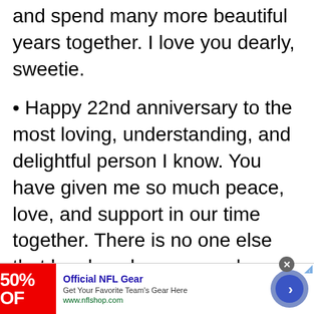and spend many more beautiful years together. I love you dearly, sweetie.
• Happy 22nd anniversary to the most loving, understanding, and delightful person I know. You have given me so much peace, love, and support in our time together. There is no one else that has loved me as much as you do. You are an amazing father, husband, and friend. I love you more than anniversary letters can express!
[Figure (other): Advertisement banner for Official NFL Gear showing 50% OFF red graphic, title 'Official NFL Gear', description 'Get Your Favorite Team's Gear Here', URL 'www.nflshop.com', a close button, and a blue arrow button]